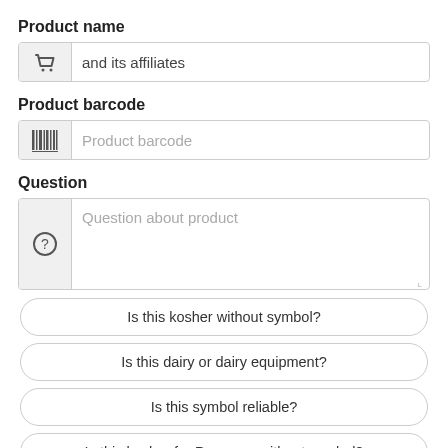Product name
[Figure (screenshot): Text input field with shopping cart icon, filled with text 'and its affiliates']
Product barcode
[Figure (screenshot): Text input field with barcode icon, placeholder text 'Product barcode']
Question
[Figure (screenshot): Textarea with question mark icon, placeholder text 'Question about product']
Is this kosher without symbol?
Is this dairy or dairy equipment?
Is this symbol reliable?
Is this kosher for Passover without symbol?
Does this product contain Kitniyot?
Choose Files  No file chosen